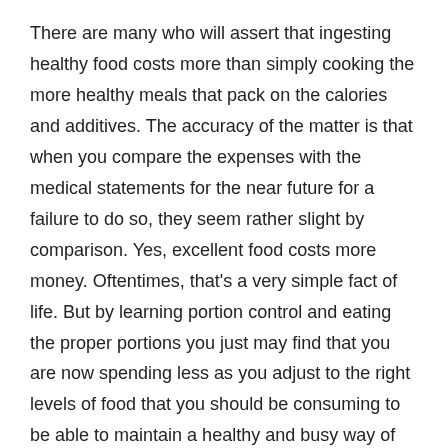There are many who will assert that ingesting healthy food costs more than simply cooking the more healthy meals that pack on the calories and additives. The accuracy of the matter is that when you compare the expenses with the medical statements for the near future for a failure to do so, they seem rather slight by comparison. Yes, excellent food costs more money. Oftentimes, that's a very simple fact of life. But by learning portion control and eating the proper portions you just may find that you are now spending less as you adjust to the right levels of food that you should be consuming to be able to maintain a healthy and busy way of life.
For all those that are expecting to incorporate wholesome cooking habits in their daily routines, you'll find no more funds available than ever before to be able to assist you in those jobs. It is possible to search for the services of a skilled nutritionist, so your physician can offer advice, you will discover all kinds of books about healthy eating, cooking, and living at the community library, and also the web is a superb way to obtain kinds of information